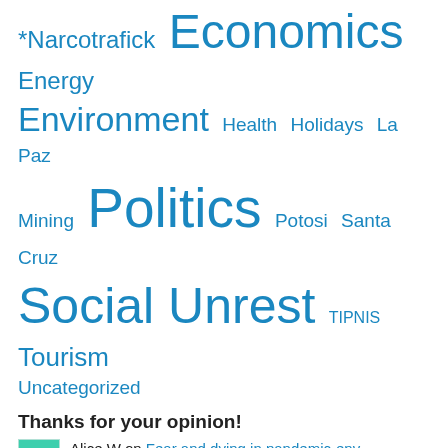*Narcotrafick Economics Energy Environment Health Holidays La Paz Mining Politics Potosi Santa Cruz Social Unrest TIPNIS Tourism Uncategorized
Thanks for your opinion!
Alice W on Fear and dying in pandemic-env...
Noemy on Irohito Urus Indians: from fis...
Helena Broderick on Resentment and hatred of the V...
Andreas Moser on Iskanwaya
Andreas Moser on Pacific War – Guerra del...